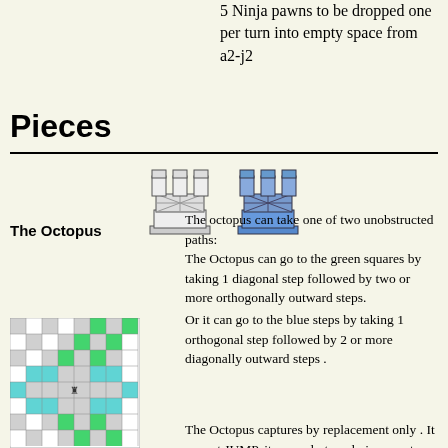5 Ninja pawns to be dropped one per turn into empty space from a2-j2
Pieces
[Figure (illustration): Two chess rook-like piece icons side by side, one white/outline and one blue, representing the Octopus piece]
The Octopus
The octopus can take one of two unobstructed paths: The Octopus can go to the green squares by taking 1 diagonal step followed by two or more orthogonally outward steps.
[Figure (illustration): A chess movement diagram showing a checkerboard pattern with green and blue/cyan squares indicating the movement paths of the Octopus piece]
Or it can go to the blue steps by taking 1 orthogonal step followed by 2 or more diagonally outward steps .
The Octopus captures by replacement only . It cannot JUMP, it can only travel via vacant